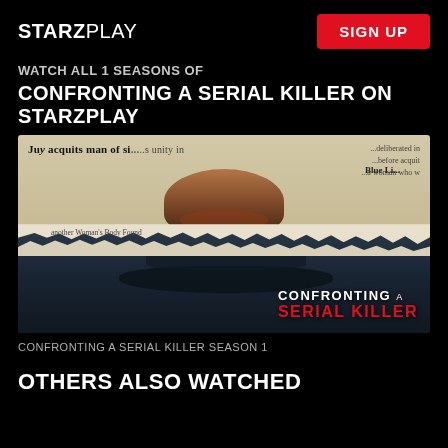STARZPLAY | SIGN UP
WATCH ALL 1 SEASONS OF CONFRONTING A SERIAL KILLER ON STARZPLAY
[Figure (photo): Promotional image for 'Confronting a Serial Killer' showing a woman's face visible through torn newspaper clippings above a dark male face silhouette, with the show title 'CONFRONTING A SERIAL KILLER' overlaid in white and red text.]
CONFRONTING A SERIAL KILLER SEASON 1
OTHERS ALSO WATCHED